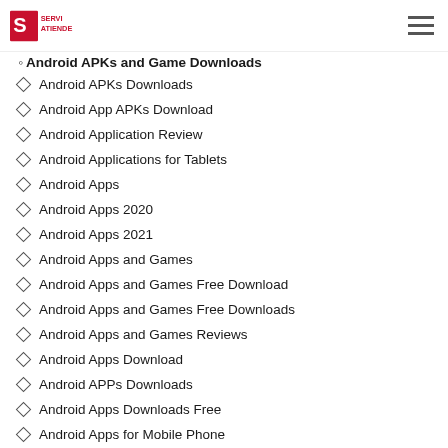ServiAtiende logo and hamburger menu navigation
Android APKs Downloads
Android App APKs Download
Android Application Review
Android Applications for Tablets
Android Apps
Android Apps 2020
Android Apps 2021
Android Apps and Games
Android Apps and Games Free Download
Android Apps and Games Free Downloads
Android Apps and Games Reviews
Android Apps Download
Android APPs Downloads
Android Apps Downloads Free
Android Apps for Mobile Phone
Android Apps for Phones and Tablets
Android Apps Free Download